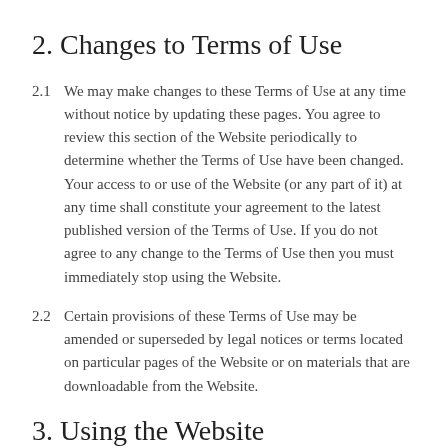2. Changes to Terms of Use
2.1	We may make changes to these Terms of Use at any time without notice by updating these pages.  You agree to review this section of the Website periodically to determine whether the Terms of Use have been changed.  Your access to or use of the Website (or any part of it) at any time shall constitute your agreement to the latest published version of the Terms of Use.  If you do not agree to any change to the Terms of Use then you must immediately stop using the Website.
2.2	Certain provisions of these Terms of Use may be amended or superseded by legal notices or terms located on particular pages of the Website or on materials that are downloadable from the Website.
3. Using the Website